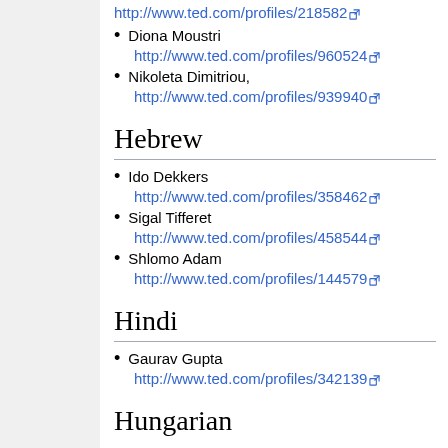http://www.ted.com/profiles/218582
Diona Moustri
http://www.ted.com/profiles/960524
Nikoleta Dimitriou,
http://www.ted.com/profiles/939940
Hebrew
Ido Dekkers
http://www.ted.com/profiles/358462
Sigal Tifferet
http://www.ted.com/profiles/458544
Shlomo Adam
http://www.ted.com/profiles/144579
Hindi
Gaurav Gupta
http://www.ted.com/profiles/342139
Hungarian